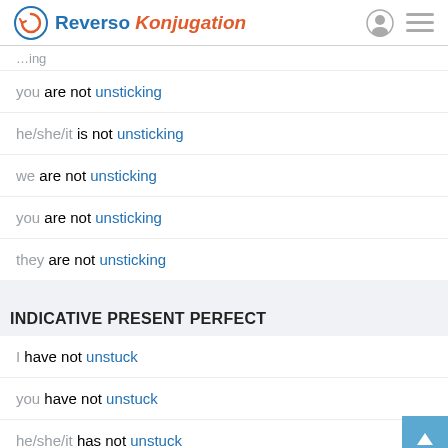Reverso Konjugation
you are not unsticking
he/she/it is not unsticking
we are not unsticking
you are not unsticking
they are not unsticking
INDICATIVE PRESENT PERFECT
I have not unstuck
you have not unstuck
he/she/it has not unstuck